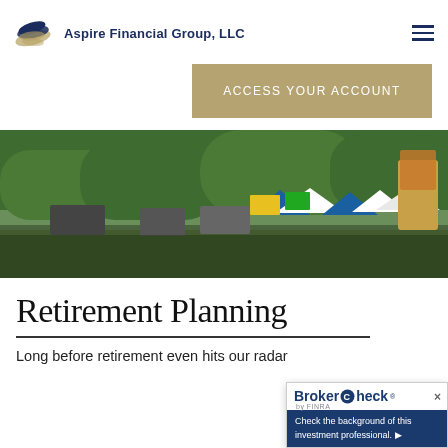Aspire Financial Group, LLC
Access Your Account
[Figure (photo): Outdoor festival scene with crowds, food trucks, tents, and trees in background, hot air balloon basket visible on right]
Retirement Planning
Long before retirement even hits our radar
[Figure (other): BrokerCheck by FINRA popup overlay in bottom right corner with text: Check the background of this investment professional.]